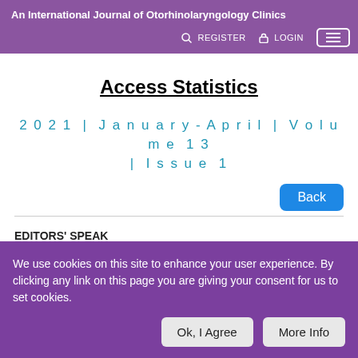An International Journal of Otorhinolaryngology Clinics
Access Statistics
2021 | January-April | Volume 13 | Issue 1
EDITORS' SPEAK
Bachi T Hathiram, Vicky S Khattar
We use cookies on this site to enhance your user experience. By clicking any link on this page you are giving your consent for us to set cookies.